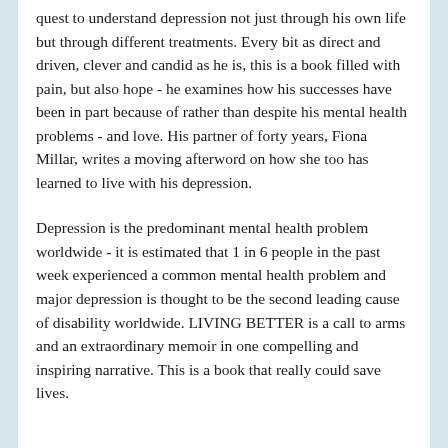quest to understand depression not just through his own life but through different treatments. Every bit as direct and driven, clever and candid as he is, this is a book filled with pain, but also hope - he examines how his successes have been in part because of rather than despite his mental health problems - and love. His partner of forty years, Fiona Millar, writes a moving afterword on how she too has learned to live with his depression.
Depression is the predominant mental health problem worldwide - it is estimated that 1 in 6 people in the past week experienced a common mental health problem and major depression is thought to be the second leading cause of disability worldwide. LIVING BETTER is a call to arms and an extraordinary memoir in one compelling and inspiring narrative. This is a book that really could save lives.